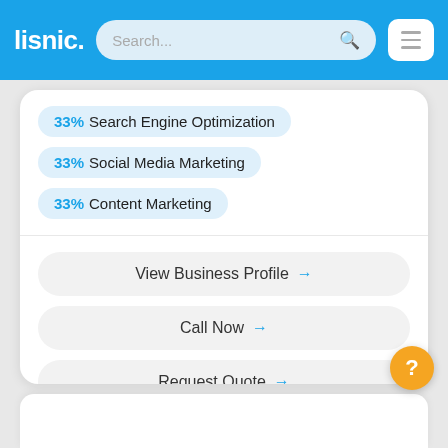lisnic. — Search... [menu]
33% Search Engine Optimization
33% Social Media Marketing
33% Content Marketing
View Business Profile →
Call Now →
Request Quote →
Visit Website